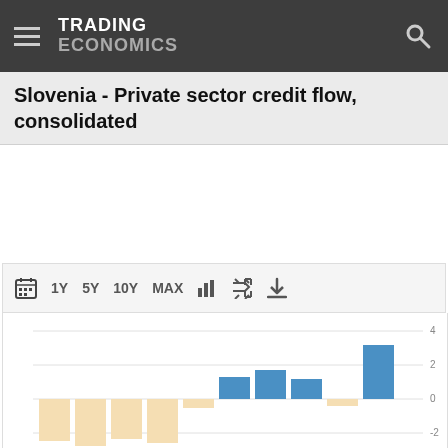TRADING ECONOMICS
Slovenia - Private sector credit flow, consolidated
[Figure (bar-chart): Slovenia - Private sector credit flow, consolidated]